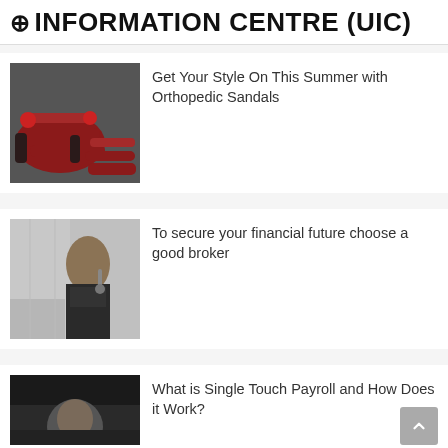# INFORMATION CENTRE (UIC)
Get Your Style On This Summer with Orthopedic Sandals
[Figure (photo): Close-up photo of feet wearing red orthopedic sandals on dark pavement]
To secure your financial future choose a good broker
[Figure (photo): Young man in suit talking on phone in an office environment]
What is Single Touch Payroll and How Does it Work?
[Figure (photo): Person in dark hallway or office, partially visible]